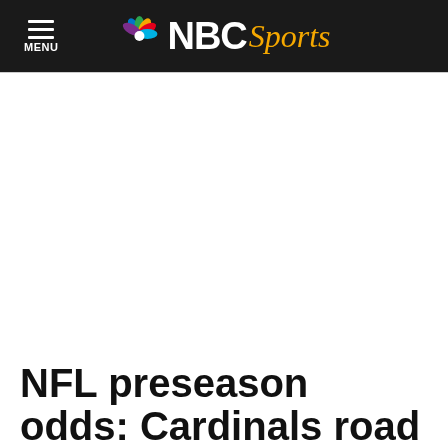NBC Sports
NFL preseason odds: Cardinals road